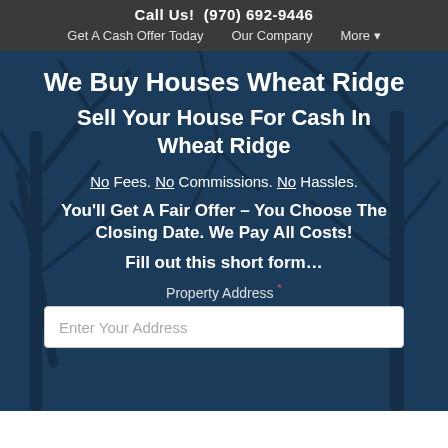Call Us! (970) 692-9446
Get A Cash Offer Today   Our Company   More ▾
We Buy Houses Wheat Ridge
Sell Your House For Cash In Wheat Ridge
No Fees. No Commissions. No Hassles.
You'll Get A Fair Offer – You Choose The Closing Date. We Pay All Costs!
Fill out this short form…
Property Address *
Enter Your Address